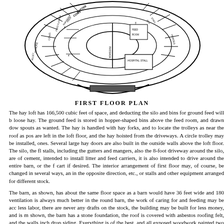[Figure (engineering-diagram): First floor plan of a round barn showing circular layout with concentric rings indicating: manure alley, cows/feed floor area with mangers, passage, feed room, box stalls, hospital stall, and horse stalls. Labeled sections include BUTTER COWS, FEED MANGERS, FEED FLOOR 6', PASSAGE, FEED ROOM, BOX STALL, HORSES, HOSPITAL STALL, MANURE ALLEY. Dimension markings show 5', 4' measurements.]
FIRST FLOOR PLAN
The hay loft has 166,500 cubic feet of space, and deducting the silo and bins for ground feed will b loose hay. The ground feed is stored in hopper-shaped bins above the feed room, and drawn dow spouts as wanted. The hay is handled with hay forks, and to locate the trolleys as near the roof as pos are left in the loft floor, and the hay hoisted from the driveways. A circle trolley may be installed, ones. Several large hay doors are also built in the outside walls above the loft floor. The silo, the fl stalls, including the gutters and mangers, also the 8-foot driveway around the silo, are of cement, intended to install litter and feed carriers, it is also intended to drive around the entire barn, or the f cart if desired. The interior arrangement of first floor may, of course, be changed in several ways, an in the opposite direction, etc., or stalls and other equipment arranged for different stock.
The barn, as shown, has about the same floor space as a barn would have 36 feet wide and 180 ventilation is always much better in the round barn, the work of caring for and feeding may be acc less labor, there are never any drafts on the stock, the building may be built for less money, and is m shown, the barn has a stone foundation, the roof is covered with asbestos roofing felt, and the walls inch drop siding. Everything is of the best, and all exposed woodwork painted two coats. This buil about $4,700 without the cow stanchions. Where home labor is used, and the lumber can be secured per thousand, the barn may, of course, be erected for less.